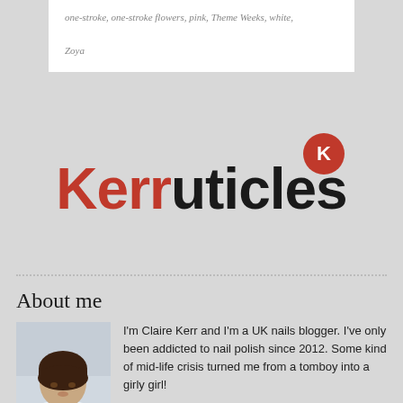one-stroke, one-stroke flowers, pink, Theme Weeks, white,
Zoya
[Figure (logo): Kerruticles blog logo with red K in circle and brand name in red/dark text]
About me
[Figure (photo): Portrait photo of Claire Kerr, a woman with dark brown hair and white top]
I'm Claire Kerr and I'm a UK nails blogger. I've only been addicted to nail polish since 2012. Some kind of mid-life crisis turned me from a tomboy into a girly girl!
I had been posting pics of my manicures to Facebook, really as a way of documenting them for myself, but I was filling up my timeline with the photos and most of my friends weren't interested. So I started this blog